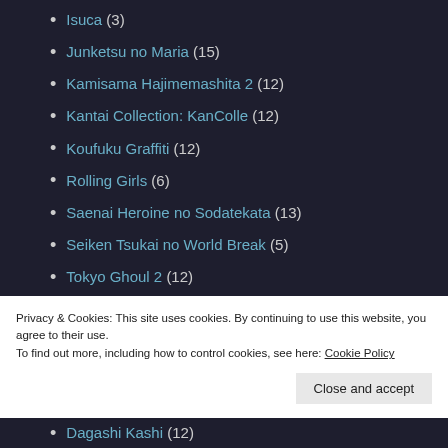Isuca (3)
Junketsu no Maria (15)
Kamisama Hajimemashita 2 (12)
Kantai Collection: KanColle (12)
Koufuku Graffiti (12)
Rolling Girls (6)
Saenai Heroine no Sodatekata (13)
Seiken Tsukai no World Break (5)
Tokyo Ghoul 2 (12)
Tsukimonogatari (3)
Yoru no Yatterman (8)
Privacy & Cookies: This site uses cookies. By continuing to use this website, you agree to their use. To find out more, including how to control cookies, see here: Cookie Policy
Close and accept
Dagashi Kashi (12)